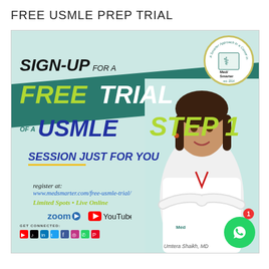FREE USMLE PREP TRIAL
[Figure (infographic): Promotional advertisement for MedSmarter free USMLE Step 1 trial session. Features bold text 'SIGN-UP FOR A FREE TRIAL OF A USMLE STEP 1 SESSION JUST FOR YOU', registration URL www.medsmarter.com/free-usmle-trial/, Zoom and YouTube logos, MedSmarter logo circle, photo of Dr. Umtera Shaikh MD, WhatsApp button, and social media icons.]